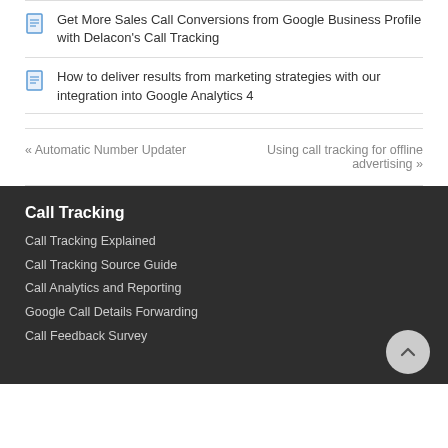Get More Sales Call Conversions from Google Business Profile with Delacon's Call Tracking
How to deliver results from marketing strategies with our integration into Google Analytics 4
« Automatic Number Updater
Using call tracking for offline advertising »
Call Tracking
Call Tracking Explained
Call Tracking Source Guide
Call Analytics and Reporting
Google Call Details Forwarding
Call Feedback Survey